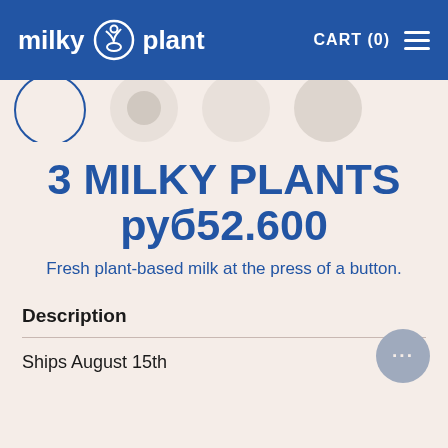milky plant  CART (0)
[Figure (photo): Product thumbnail images strip showing partial circular product photos]
3 MILKY PLANTS руб52.600
Fresh plant-based milk at the press of a button.
Description
Ships August 15th